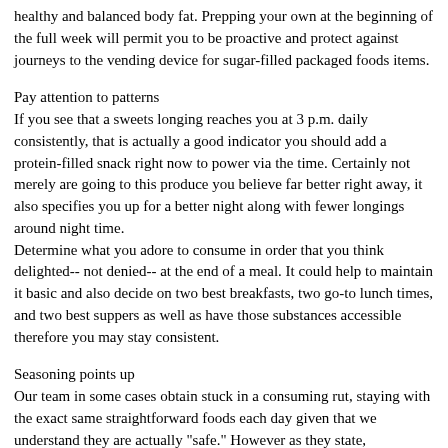healthy and balanced body fat. Prepping your own at the beginning of the full week will permit you to be proactive and protect against journeys to the vending device for sugar-filled packaged foods items.
Pay attention to patterns
If you see that a sweets longing reaches you at 3 p.m. daily consistently, that is actually a good indicator you should add a protein-filled snack right now to power via the time. Certainly not merely are going to this produce you believe far better right away, it also specifies you up for a better night along with fewer longings around night time.
Determine what you adore to consume in order that you think delighted-- not denied-- at the end of a meal. It could help to maintain it basic and also decide on two best breakfasts, two go-to lunch times, and two best suppers as well as have those substances accessible therefore you may stay consistent.
Seasoning points up
Our team in some cases obtain stuck in a consuming rut, staying with the exact same straightforward foods each day given that we understand they are actually "safe." However as they state, assortment is actually the flavor of lifestyle-- and also flavor is a hero when you're swapping out sweets. Some of the most unique tastes are actually stemmed from easily obtainable flavors that that is to be in measure of source readily like when you make them.